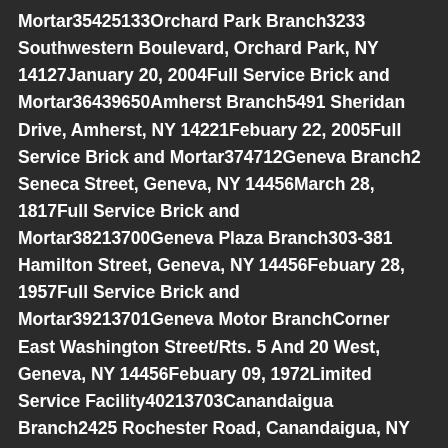Mortar35425133Orchard Park Branch3233 Southwestern Boulevard, Orchard Park, NY 14127January 20, 2004Full Service Brick and Mortar36439650Amherst Branch5491 Sheridan Drive, Amherst, NY 14221Febuary 22, 2005Full Service Brick and Mortar374712Geneva Branch2 Seneca Street, Geneva, NY 14456March 28, 1817Full Service Brick and Mortar38213700Geneva Plaza Branch303-381 Hamilton Street, Geneva, NY 14456Febuary 28, 1957Full Service Brick and Mortar39213701Geneva Motor BranchCorner East Washington Street/Rts. 5 And 20 West, Geneva, NY 14456Febuary 09, 1972Limited Service Facility40213703Canandaigua Branch2425 Rochester Road, Canandaigua, NY 14424March 16, 1987Full Service Brick and Mortar41213705Penn Yan Branch129 Elm Street, Penn Yan, NY 14527Febuary 20, 1990Full Service Brick and Mortar42213706Seneca Falls Branch1940